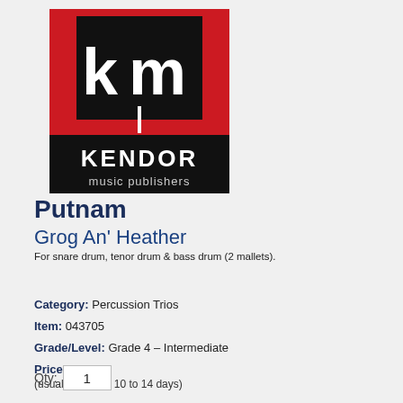[Figure (logo): Kendor Music Publishers logo: black square with white 'km' letters on red background, below it black bar with 'KENDOR music publishers' in white text]
Putnam
Grog An' Heather
For snare drum, tenor drum & bass drum (2 mallets).
Category: Percussion Trios
Item: 043705
Grade/Level: Grade 4 – Intermediate
Price: $12.95
(usually ships in 10 to 14 days)
Qty: 1